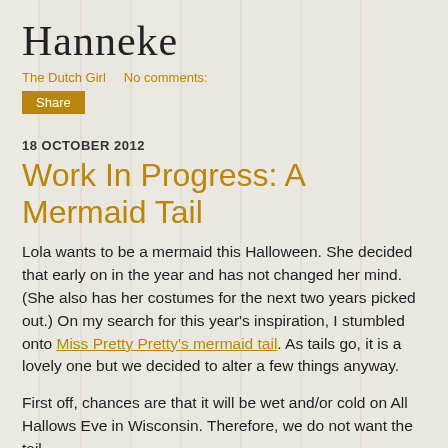Hanneke
The Dutch Girl    No comments:
Share
18 OCTOBER 2012
Work In Progress: A Mermaid Tail
Lola wants to be a mermaid this Halloween. She decided that early on in the year and has not changed her mind. (She also has her costumes for the next two years picked out.) On my search for this year's inspiration, I stumbled onto Miss Pretty Pretty's mermaid tail. As tails go, it is a lovely one but we decided to alter a few things anyway.
First off, chances are that it will be wet and/or cold on All Hallows Eve in Wisconsin. Therefore, we do not want the tail to be one that...